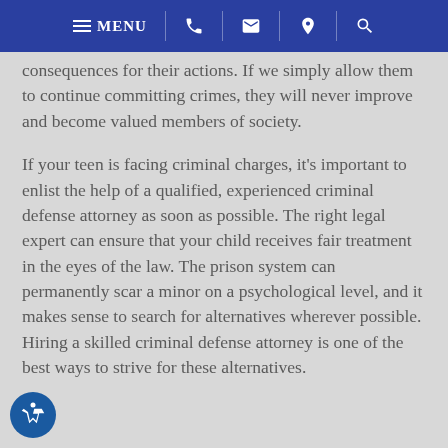MENU [phone] [email] [location] [search]
consequences for their actions. If we simply allow them to continue committing crimes, they will never improve and become valued members of society.
If your teen is facing criminal charges, it's important to enlist the help of a qualified, experienced criminal defense attorney as soon as possible. The right legal expert can ensure that your child receives fair treatment in the eyes of the law. The prison system can permanently scar a minor on a psychological level, and it makes sense to search for alternatives wherever possible. Hiring a skilled criminal defense attorney is one of the best ways to strive for these alternatives.